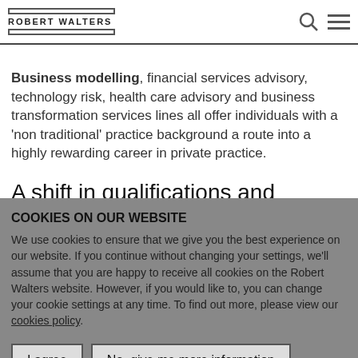ROBERT WALTERS
compliment a firm's existing service offering. Business modelling, financial services advisory, technology risk, health care advisory and business transformation services lines all offer individuals with a 'non traditional' practice background a route into a highly rewarding career in private practice.
A shift in qualifications and experience
Among national and regional firms the qualification landscape for traditional service lines (Audit, Tax, TS, Lead
COOKIES ON OUR WEBSITE
We use cookies to ensure that we give you the best experience on our website. If you continue without changing your settings, we'll assume that you are happy to receive all cookies on the Robert Walters website. However, if you would like to, you can change your cookie settings at any time. To find out more, please view our cookies policy.
I agree | No, give me more information